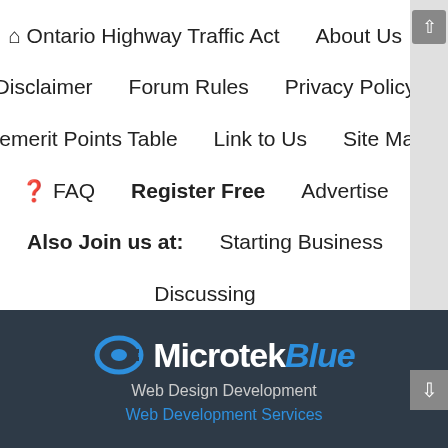🏠 Ontario Highway Traffic Act   About Us   Disclaimer   Forum Rules   Privacy Policy   Demerit Points Table   Link to Us   Site Map   ❓ FAQ   Register Free   Advertise   Also Join us at:   Starting Business   Discussing
[Figure (logo): MicrotekBlue logo with stylized C icon, white bold Microtek text and blue italic Blue text on dark background]
Web Design Development
Web Development Services